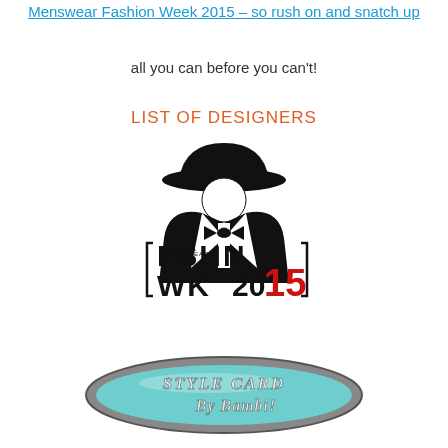Menswear Fashion Week 2015 – so rush on and snatch up
all you can before you can't!
LIST OF DESIGNERS
[Figure (logo): FSHN WK 2015 Menswear Fashion Week logo featuring a silhouette of a man in a bowler hat and tuxedo with bow tie, text reading FSHN WK with MENSWEAR above and 2015 below in red and black]
[Figure (logo): Style Card by Bambi badge/logo — teal oval metallic badge with the text STYLE CARD BY BAMBI!]